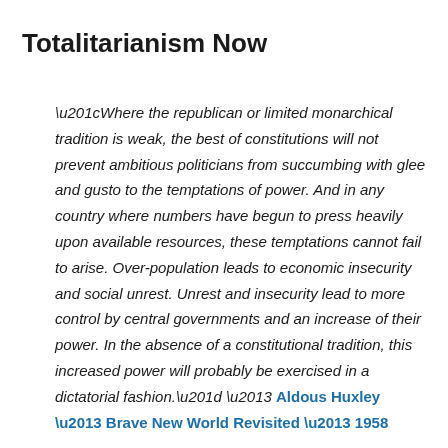Totalitarianism Now
“Where the republican or limited monarchical tradition is weak, the best of constitutions will not prevent ambitious politicians from succumbing with glee and gusto to the temptations of power. And in any country where numbers have begun to press heavily upon available resources, these temptations cannot fail to arise. Over-population leads to economic insecurity and social unrest. Unrest and insecurity lead to more control by central governments and an increase of their power. In the absence of a constitutional tradition, this increased power will probably be exercised in a dictatorial fashion.” – Aldous Huxley – Brave New World Revisited – 1958